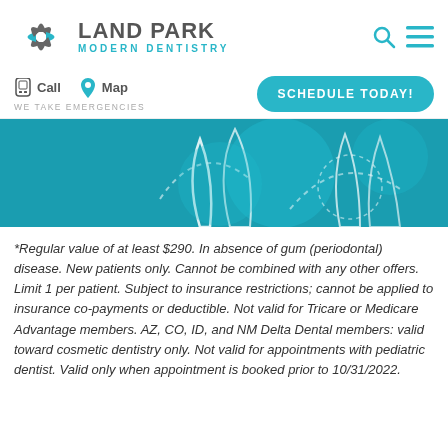[Figure (logo): Land Park Modern Dentistry logo with stylized asterisk/snowflake icon in grey and blue, company name in grey uppercase and 'Modern Dentistry' in teal]
[Figure (infographic): Navigation bar with phone/call icon, map icon, 'SCHEDULE TODAY!' teal button, and search/menu icons]
[Figure (illustration): Teal banner with abstract dental/tooth outline illustrations and circular shapes in lighter teal]
*Regular value of at least $290. In absence of gum (periodontal) disease. New patients only. Cannot be combined with any other offers. Limit 1 per patient. Subject to insurance restrictions; cannot be applied to insurance co-payments or deductible. Not valid for Tricare or Medicare Advantage members. AZ, CO, ID, and NM Delta Dental members: valid toward cosmetic dentistry only. Not valid for appointments with pediatric dentist. Valid only when appointment is booked prior to 10/31/2022.